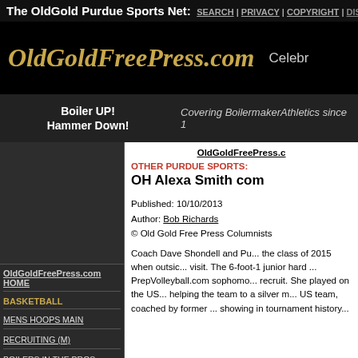The OldGold Purdue Sports Net: SEARCH | PRIVACY | COPYRIGHT | DISC...
[Figure (logo): OldGoldFreePress.com logo in gold serif font on black background]
Boiler UP! Hammer Down!
Covering BoilermakerAthletics since 1...
OldGoldFreePress.com
OldGoldFreePress.com HOME
BASKETBALL
MENS HOOPS MAIN
RECRUITING (M)
BOILERS IN THE PROS
WOMEN HOOPS MAIN
OldGoldFreePress.com
OTHER PURDUE SPORTS:
OH Alexa Smith comm...
Published: 10/10/2013
Author: Bob Richards
© Old Gold Free Press Columnists
Coach Dave Shondell and Pu... the class of 2015 when outsi... visit. The 6-foot-1 junior hard ... PrepVolleyball.com sophomo... recruit. She played on the US... helping the team to a silver m... US team, coached by former ... showing in tournament history...